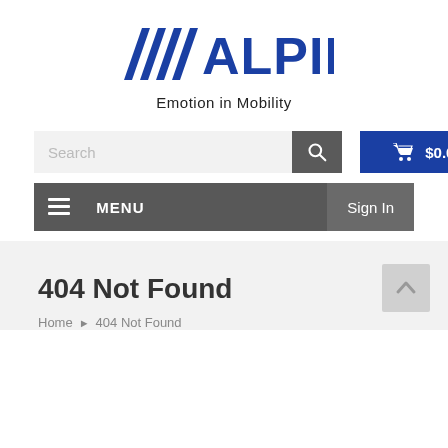[Figure (logo): Alpine Electronics logo with diagonal stripes and 'ALPINE' text in dark blue, tagline 'Emotion in Mobility' below]
[Figure (screenshot): Search bar with placeholder 'Search', dark search button with magnifying glass icon, and blue cart button showing '$0.00']
[Figure (screenshot): Navigation bar with hamburger menu icon, 'MENU' label, and 'Sign In' button on the right]
404 Not Found
Home ▶ 404 Not Found